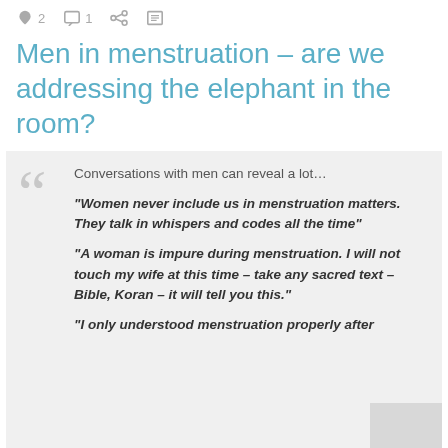♥ 2  □ 1  < ≡
Men in menstruation – are we addressing the elephant in the room?
Conversations with men can reveal a lot… "Women never include us in menstruation matters. They talk in whispers and codes all the time" "A woman is impure during menstruation. I will not touch my wife at this time – take any sacred text – Bible, Koran – it will tell you this." "I only understood menstruation properly after